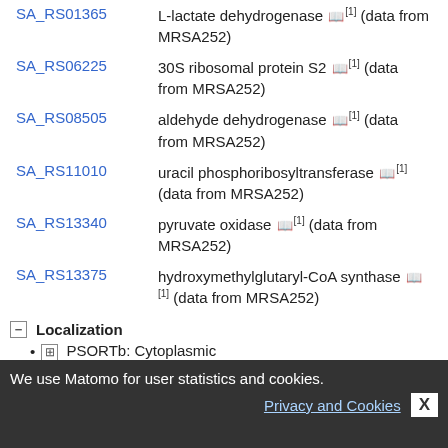| Gene ID | Description |
| --- | --- |
| SA_RS01365 | L-lactate dehydrogenase 📖[1] (data from MRSA252) |
| SA_RS06225 | 30S ribosomal protein S2 📖[1] (data from MRSA252) |
| SA_RS08505 | aldehyde dehydrogenase 📖[1] (data from MRSA252) |
| SA_RS11010 | uracil phosphoribosyltransferase 📖[1] (data from MRSA252) |
| SA_RS13340 | pyruvate oxidase 📖[1] (data from MRSA252) |
| SA_RS13375 | hydroxymethylglutaryl-CoA synthase 📖[1] (data from MRSA252) |
Localization
PSORTb: Cytoplasmic
LocateP:
SignalP: no predicted signal peptide
predicted transmembrane helices (TMHMM): 0
Accession numbers
RefSeq: WP_000604514 NCBI
We use Matomo for user statistics and cookies.
Privacy and Cookies  X